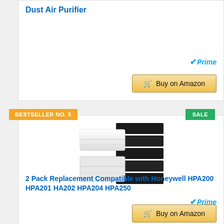Dust Air Purifier
[Figure (other): Amazon Prime badge]
[Figure (other): Buy on Amazon button]
BESTSELLER NO. 5
SALE
[Figure (photo): 2 Pack air purifier replacement filters - white HEPA filters and black carbon pre-filters stacked together]
2 Pack Replacement Compatible with Honeywell HPA200 HPA201 HA202 HPA204 HPA250
[Figure (other): Amazon Prime badge]
[Figure (other): Buy on Amazon button]